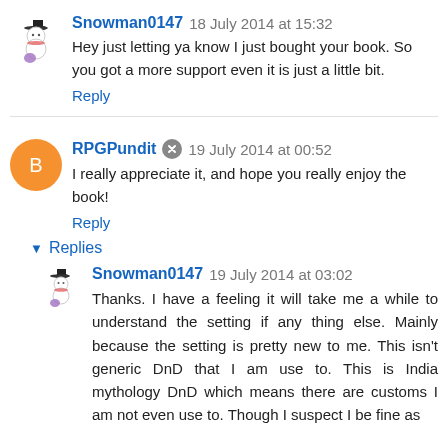Snowman0147  18 July 2014 at 15:32
Hey just letting ya know I just bought your book. So you got a more support even it is just a little bit.
Reply
RPGPundit  19 July 2014 at 00:52
I really appreciate it, and hope you really enjoy the book!
Reply
Replies
Snowman0147  19 July 2014 at 03:02
Thanks. I have a feeling it will take me a while to understand the setting if any thing else. Mainly because the setting is pretty new to me. This isn't generic DnD that I am use to. This is India mythology DnD which means there are customs I am not even use to. Though I suspect I be fine as